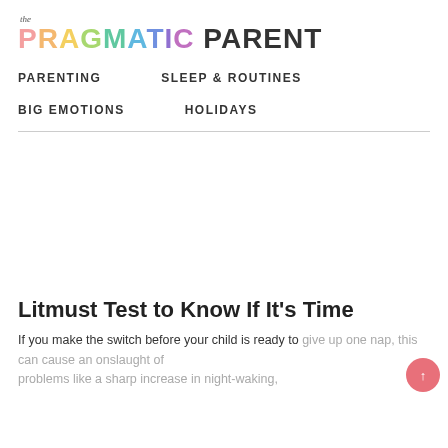the PRAGMATIC PARENT
PARENTING
SLEEP & ROUTINES
BIG EMOTIONS
HOLIDAYS
[Figure (other): Advertisement / blank white space area]
Litmust Test to Know If It's Time
If you make the switch before your child is ready to give up one nap, this can cause an onslaught of problems like a sharp increase in night-waking,